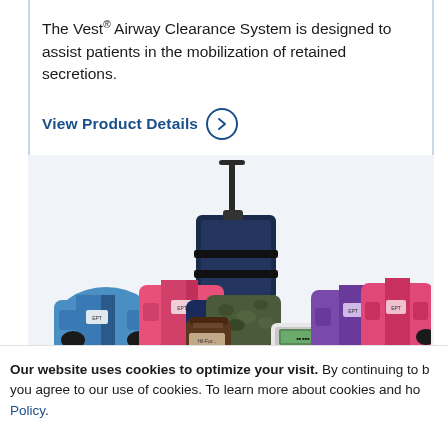The Vest® Airway Clearance System is designed to assist patients in the mobilization of retained secretions.
View Product Details >
[Figure (photo): Product photo showing multiple Vest Airway Clearance System models and accessories in various colors (blue, pink, purple, camouflage, navy) along with a rolling carry case and a control unit device]
Our website uses cookies to optimize your visit. By continuing to b you agree to our use of cookies. To learn more about cookies and ho Policy.